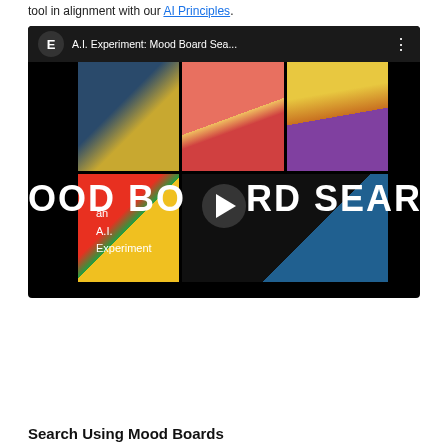tool in alignment with our AI Principles.
[Figure (screenshot): YouTube video thumbnail for 'A.I. Experiment: Mood Board Sea...' showing a 3x2 grid of colorful architectural/fabric photos on a black background with large white text 'MOOD BOARD SEARCH' and a play button overlay. Bottom left shows 'an A.I. Experiment' text.]
Search Using Mood Boards